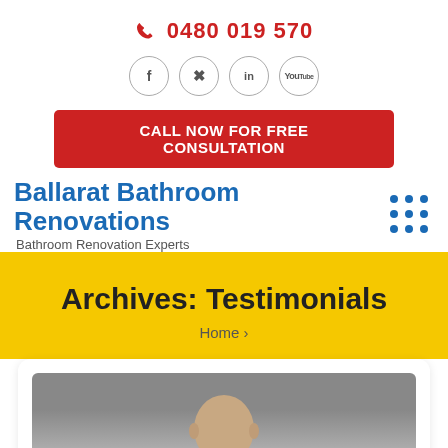0480 019 570
[Figure (other): Social media icons row: Facebook, Twitter, LinkedIn, YouTube — each in a circle]
CALL NOW FOR FREE CONSULTATION
Ballarat Bathroom Renovations
Bathroom Renovation Experts
Archives: Testimonials
Home >
[Figure (photo): Person headshot photo, partially visible, bald head against grey background]